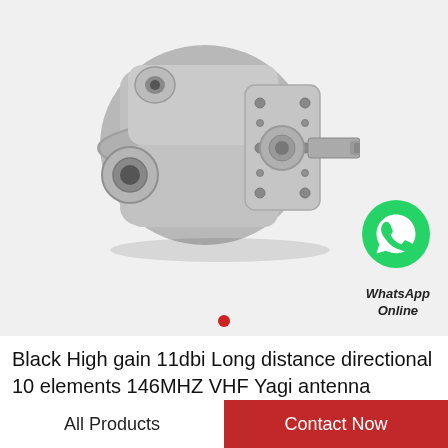[Figure (photo): A metallic hydraulic gear pump component, silver-grey cast metal, with cylindrical shaft extending to the right, multiple bolt holes visible on face plate, and inlet/outlet ports on side. WhatsApp Online badge with green phone icon in lower right of image area.]
WhatsApp Online
Black High gain 11dbi Long distance directional 10 elements 146MHZ VHF Yagi antenna
All Products
Contact Now